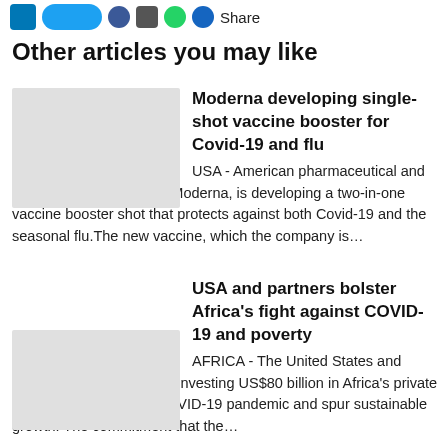Share
Other articles you may like
Moderna developing single-shot vaccine booster for Covid-19 and flu
USA - American pharmaceutical and biotechnology company, Moderna, is developing a two-in-one vaccine booster shot that protects against both Covid-19 and the seasonal flu.The new vaccine, which the company is…
USA and partners bolster Africa's fight against COVID-19 and poverty
AFRICA - The United States and international partners are investing US$80 billion in Africa's private sector to help end the COVID-19 pandemic and spur sustainable growth. The commitment that the…